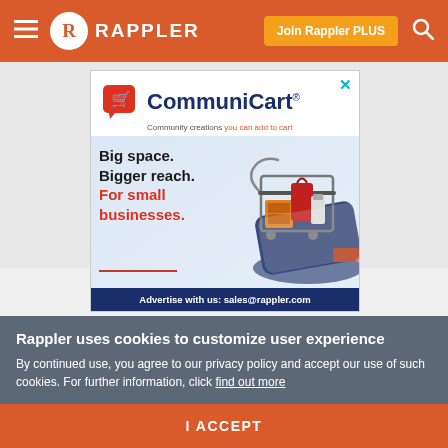≡  R  RAPPLER  |  Join Rappler PLUS  |  🔍
[Figure (illustration): CommuniCart advertisement banner showing a shopping cart with groceries on a smartphone, with text 'Big space. Bigger reach. For small businesses.' and footer 'Advertise with us: sales@rappler.com']
Rappler uses cookies to customize user experience
By continued use, you agree to our privacy policy and accept our use of such cookies. For further information, click find out more
I ACCEPT